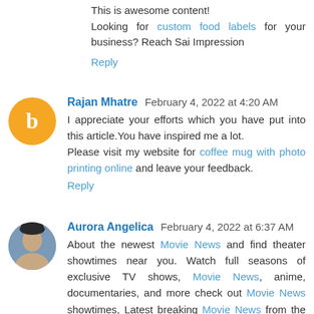This is awesome content! Looking for custom food labels for your business? Reach Sai Impression
Reply
Rajan Mhatre  February 4, 2022 at 4:20 AM
I appreciate your efforts which you have put into this article.You have inspired me a lot.
Please visit my website for coffee mug with photo printing online and leave your feedback.
Reply
Aurora Angelica  February 4, 2022 at 6:37 AM
About the newest Movie News and find theater showtimes near you. Watch full seasons of exclusive TV shows, Movie News, anime, documentaries, and more check out Movie News showtimes, Latest breaking Movie News from the Movie News you want to see now Movie News